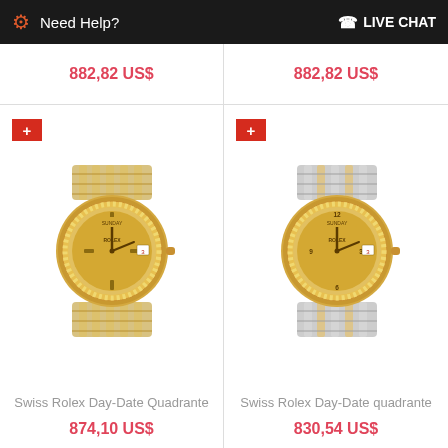Need Help?  LIVE CHAT
882,82 US$
882,82 US$
[Figure (photo): Swiss Rolex Day-Date watch with gold-tone dial, diamond bezel, and two-tone gold and steel bracelet]
[Figure (photo): Swiss Rolex Day-Date watch with gold-tone dial, diamond bezel, and two-tone gold and steel bracelet]
Swiss Rolex Day-Date Quadrante
Swiss Rolex Day-Date quadrante
874,10 US$
830,54 US$